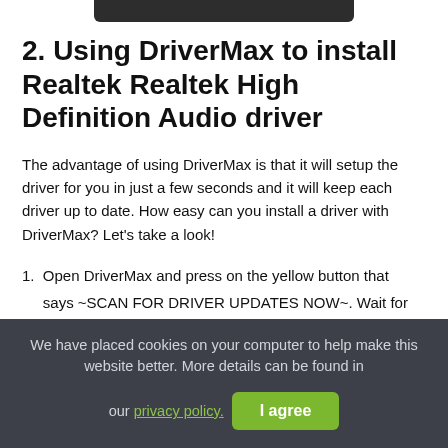[Figure (screenshot): Dark top navigation bar at the top of the page]
2. Using DriverMax to install Realtek Realtek High Definition Audio driver
The advantage of using DriverMax is that it will setup the driver for you in just a few seconds and it will keep each driver up to date. How easy can you install a driver with DriverMax? Let's take a look!
1.  Open DriverMax and press on the yellow button that says ~SCAN FOR DRIVER UPDATES NOW~. Wait for DriverMax to scan and analyze each driver on your
We have placed cookies on your computer to help make this website better. More details can be found in our privacy policy.
I agree